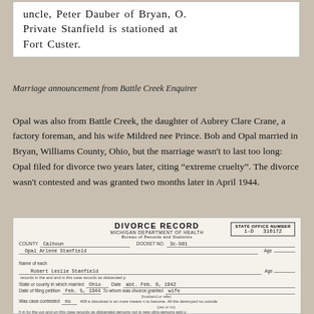[Figure (screenshot): Newspaper clipping showing text: uncle, Peter Dauber of Bryan, O. Private Stanfield is stationed at Fort Custer.]
Marriage announcement from Battle Creek Enquirer
Opal was also from Battle Creek, the daughter of Aubrey Clare Crane, a factory foreman, and his wife Mildred nee Prince. Bob and Opal married in Bryan, Williams County, Ohio, but the marriage wasn't to last too long: Opal filed for divorce two years later, citing “extreme cruelty”. The divorce wasn't contested and was granted two months later in April 1944.
[Figure (screenshot): Divorce Record form from Michigan Department of Health Bureau of Records and Statistics. County: Calhoun, Docket No: 3c-501, Name of each: Opal Arlene Stanfield and Robert Leslie Stanfield, State or county in which married: Ohio, Date: abt. Feb. 9, 1942, Date of filing petition: Feb. 5, 1944, To whom was divorce granted: wife, Was case contested: no.]